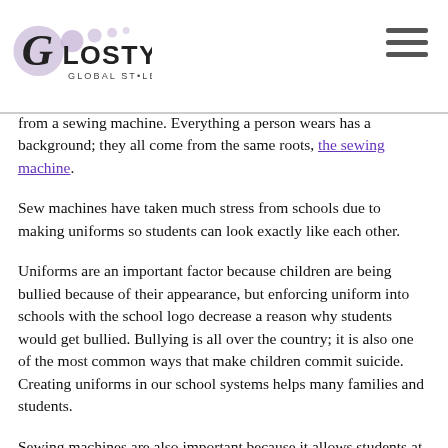Glosty – Global Style
from a sewing machine. Everything a person wears has a background; they all come from the same roots, the sewing machine.
Sew machines have taken much stress from schools due to making uniforms so students can look exactly like each other.
Uniforms are an important factor because children are being bullied because of their appearance, but enforcing uniform into schools with the school logo decrease a reason why students would get bullied. Bullying is all over the country; it is also one of the most common ways that make children commit suicide. Creating uniforms in our school systems helps many families and students.
Sewing machines are also important because it allows students at a younger age to pursue their dreams; for example, Lulu_hilton on twitter started her dreams early from a simply sewing machine although it does not seem like much it impacted her in greater ways